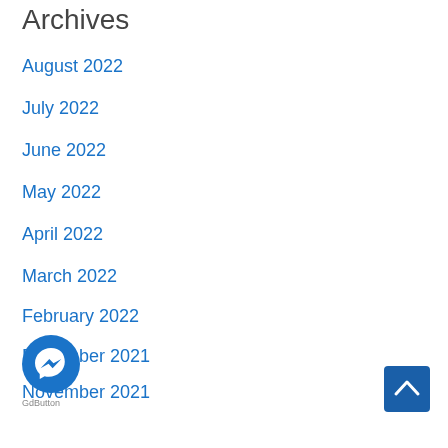Archives
August 2022
July 2022
June 2022
May 2022
April 2022
March 2022
February 2022
December 2021
November 2021
October 2021
September 2021
August 2021
July 2021